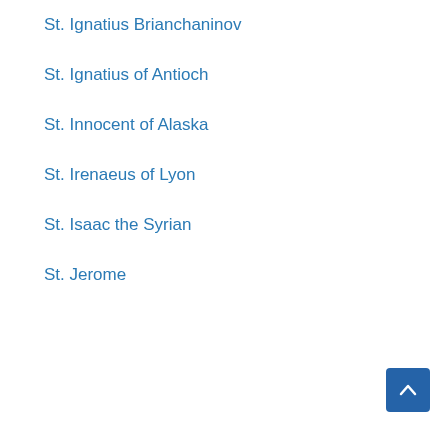St. Ignatius Brianchaninov
St. Ignatius of Antioch
St. Innocent of Alaska
St. Irenaeus of Lyon
St. Isaac the Syrian
St. Jerome